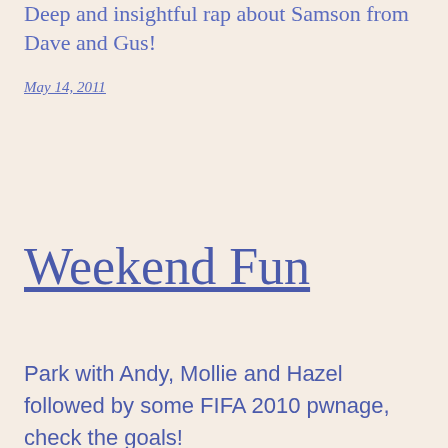Deep and insightful rap about Samson from Dave and Gus!
May 14, 2011
Weekend Fun
Park with Andy, Mollie and Hazel followed by some FIFA 2010 pwnage, check the goals!